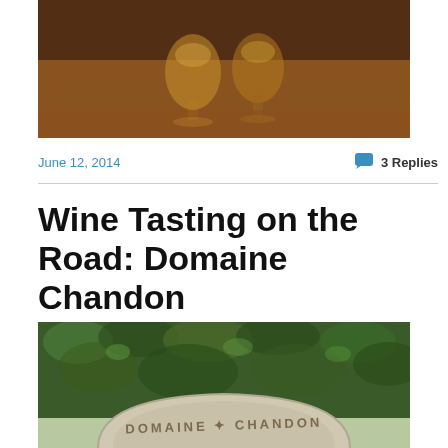[Figure (photo): Photo of wine glasses on a wooden table, warm amber/brown tones]
June 12, 2014
3 Replies
Wine Tasting on the Road: Domaine Chandon
[Figure (photo): Photo of Domaine Chandon winery entrance arch with ivy-covered wall, stone arch reading DOMAINE CHANDON]